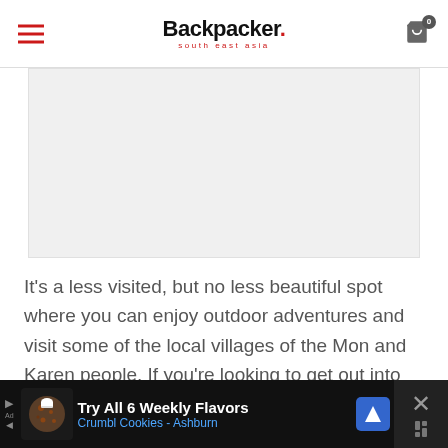Backpacker. south east asia
[Figure (other): Gray placeholder advertisement image block]
It's a less visited, but no less beautiful spot where you can enjoy outdoor adventures and visit some of the local villages of the Mon and Karen people. If you're looking to get out into
[Figure (other): Bottom advertisement banner: TryAll 6 Weekly Flavors - Crumbl Cookies - Ashburn]